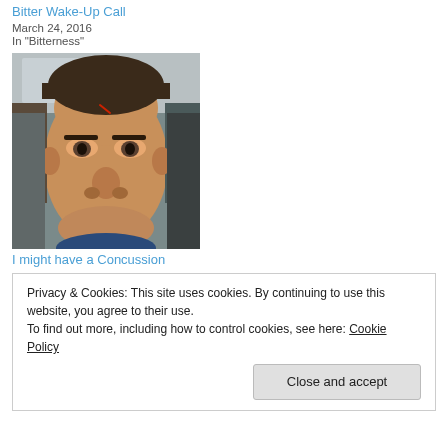Bitter Wake-Up Call
March 24, 2016
In "Bitterness"
[Figure (photo): Close-up selfie of a man in a car with a small cut on his forehead, looking directly at the camera with a serious expression]
I might have a Concussion
Privacy & Cookies: This site uses cookies. By continuing to use this website, you agree to their use.
To find out more, including how to control cookies, see here: Cookie Policy
Close and accept